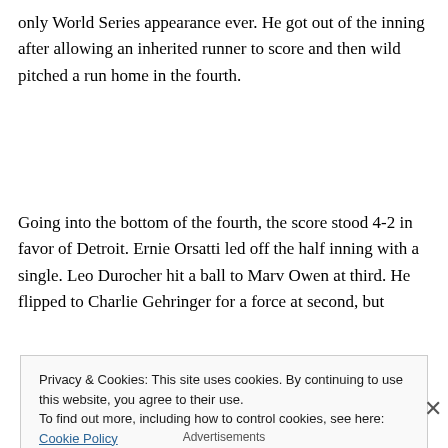only World Series appearance ever. He got out of the inning after allowing an inherited runner to score and then wild pitched a run home in the fourth.
Going into the bottom of the fourth, the score stood 4-2 in favor of Detroit. Ernie Orsatti led off the half inning with a single. Leo Durocher hit a ball to Marv Owen at third. He flipped to Charlie Gehringer for a force at second, but
Privacy & Cookies: This site uses cookies. By continuing to use this website, you agree to their use.
To find out more, including how to control cookies, see here: Cookie Policy
Close and accept
Advertisements